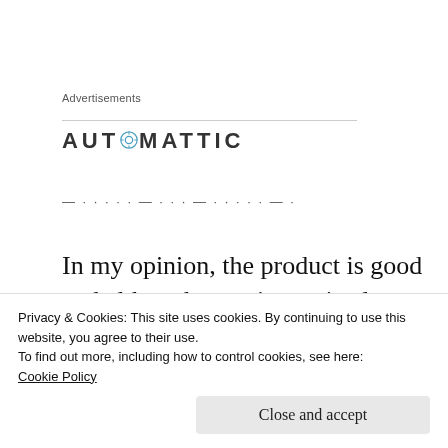Advertisements
[Figure (logo): Automattic logo with circular compass/target icon replacing the letter O]
[Figure (other): Partially visible dashed/dotted tagline text below the Automattic logo]
In my opinion, the product is good and although premium priced, meets my needs for Internet, Mobile, /G Remote wifi and Home
Privacy & Cookies: This site uses cookies. By continuing to use this website, you agree to their use.
To find out more, including how to control cookies, see here:
Cookie Policy
Close and accept